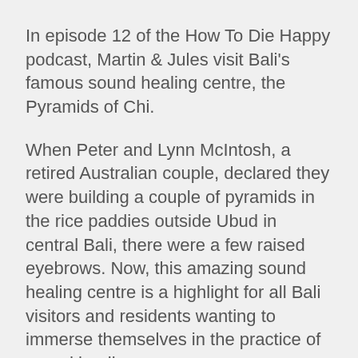In episode 12 of the How To Die Happy podcast, Martin & Jules visit Bali's famous sound healing centre, the Pyramids of Chi.
When Peter and Lynn McIntosh, a retired Australian couple, declared they were building a couple of pyramids in the rice paddies outside Ubud in central Bali, there were a few raised eyebrows. Now, this amazing sound healing centre is a highlight for all Bali visitors and residents wanting to immerse themselves in the practice of sound healing.
Martin & Jules speak to Peter about the mysteries of the pyramids, healing frequencies, and more. The session